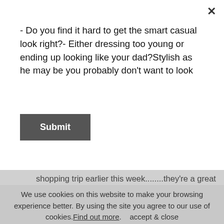- Do you find it hard to get the smart casual look right?- Either dressing too young or ending up looking like your dad?Stylish as he may be you probably don't want to look
[Figure (other): Submit button (dark grey rectangle with white bold text)]
shopping trip earlier this week........they're a great summer replacement for the crepe sole boots he'd been wearing all winter. He doesn't need to dress up for work so can wear them casually with jeans (try the lightweight ones from Alexandra Wood or Seven For All Mankind) or with chinos and an unstructured blazer for smarter occasions. I think he's going to get a lot of wear from his, and the navy ones work really well with beige / off white
We use cookies on this website to make your browsing experience better. By using the site you agree to our use of cookies. Find out more.    accept & close